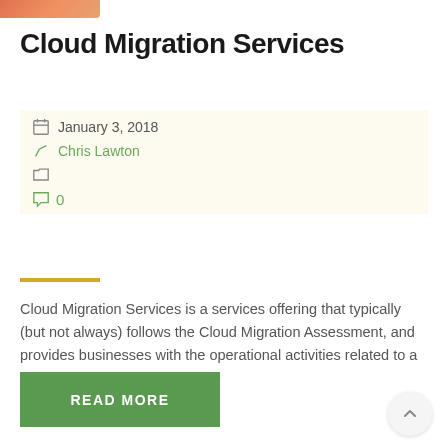[Figure (photo): Partial image strip at top left, orange/tan tones, cropped.]
Cloud Migration Services
January 3, 2018
Chris Lawton
0
Cloud Migration Services is a services offering that typically (but not always) follows the Cloud Migration Assessment, and provides businesses with the operational activities related to a cloud migration
READ MORE